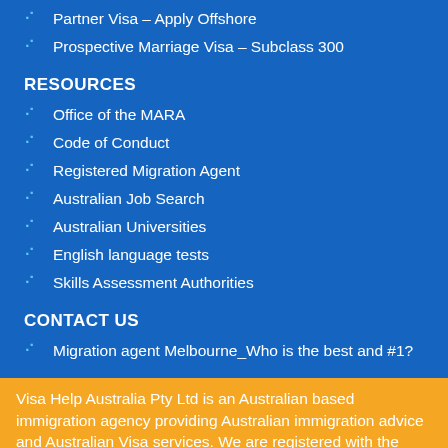Partner Visa – Apply Offshore
Prospective Marriage Visa – Subclass 300
RESOURCES
Office of the MARA
Code of Conduct
Registered Migration Agent
Australian Job Search
Australian Universities
English language tests
Skills Assessment Authorities
CONTACT US
Migration agent Melbourne_Who is the best and #1?
Visa Help Australia Pty Ltd is an Australian based immigration agency providing Australian immigration advice and Australian Visa services. We are registered with the Office of the MARA